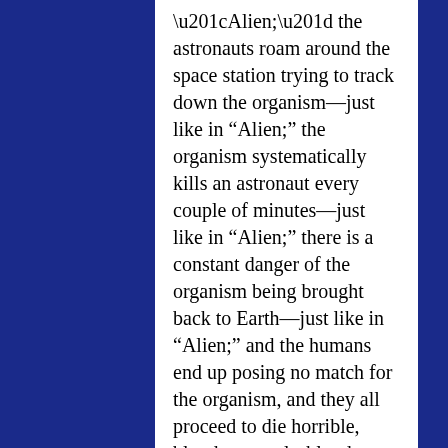“Alien;” the astronauts roam around the space station trying to track down the organism—just like in “Alien;” the organism systematically kills an astronaut every couple of minutes—just like in “Alien;” there is a constant danger of the organism being brought back to Earth—just like in “Alien;” and the humans end up posing no match for the organism, and they all proceed to die horrible, bloody—overly-bloody—gross, gory deaths at the hands—well, whatever they are—of the organism—just like in “Alien.”
It wouldn’t be too surprising if